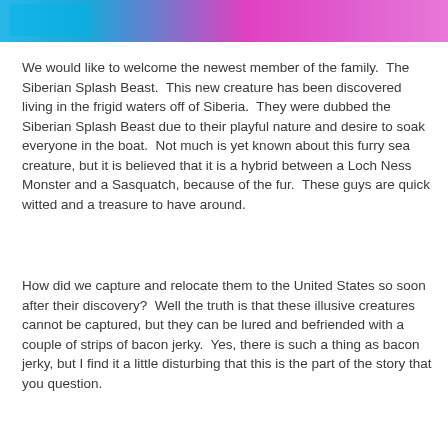[Figure (photo): Partial cropped photo at top of page showing colorful blue and pink fur or feathers, likely of the 'Siberian Splash Beast' creature referenced in the text.]
We would like to welcome the newest member of the family.  The Siberian Splash Beast.  This new creature has been discovered living in the frigid waters off of Siberia.  They were dubbed the Siberian Splash Beast due to their playful nature and desire to soak everyone in the boat.  Not much is yet known about this furry sea creature, but it is believed that it is a hybrid between a Loch Ness Monster and a Sasquatch, because of the fur.  These guys are quick witted and a treasure to have around.
How did we capture and relocate them to the United States so soon after their discovery?  Well the truth is that these illusive creatures cannot be captured, but they can be lured and befriended with a couple of strips of bacon jerky.  Yes, there is such a thing as bacon jerky, but I find it a little disturbing that this is the part of the story that you question.